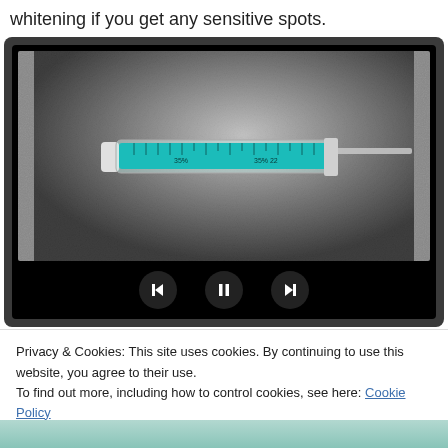whitening if you get any sensitive spots.
[Figure (photo): Photo of a dental whitening syringe (teal/turquoise colored) with measurement markings, lying on a textured metallic/sparkly dark surface. A video player control bar with back, pause, and forward buttons is displayed below the image.]
Privacy & Cookies: This site uses cookies. By continuing to use this website, you agree to their use.
To find out more, including how to control cookies, see here: Cookie Policy
Close and accept